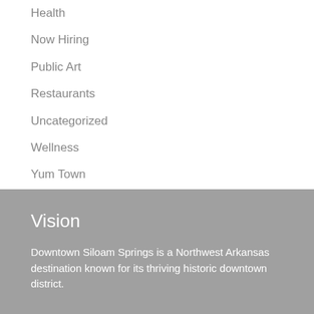Halloween
Health
Now Hiring
Public Art
Restaurants
Uncategorized
Wellness
Yum Town
Vision
Downtown Siloam Springs is a Northwest Arkansas destination known for its thriving historic downtown district.